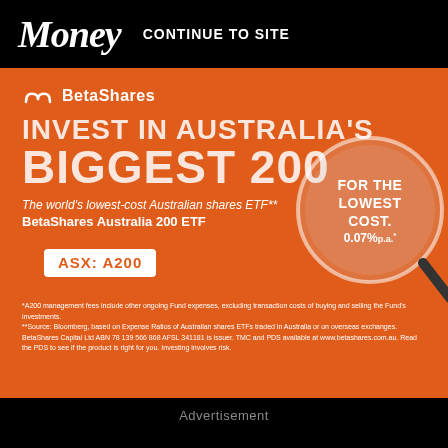Money  CONTINUE TO SITE
[Figure (infographic): BetaShares advertisement on orange background. BetaShares logo at top. Large headline: INVEST IN AUSTRALIA'S BIGGEST 200. Magnifying glass graphic with text FOR THE LOWEST COST. 0.07% p.a. Tagline: The world's lowest-cost Australian shares ETF**. Fund name: BetaShares Australia 200 ETF. ASX: A200 badge. Footnotes at bottom. Advertisement label below.]
Advertisement